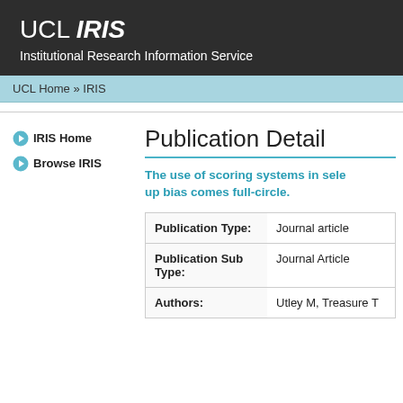UCL IRIS
Institutional Research Information Service
UCL Home » IRIS
IRIS Home
Browse IRIS
Publication Detail
The use of scoring systems in sele... up bias comes full-circle.
| Field | Value |
| --- | --- |
| Publication Type: | Journal article |
| Publication Sub Type: | Journal Article |
| Authors: | Utley M, Treasure T |